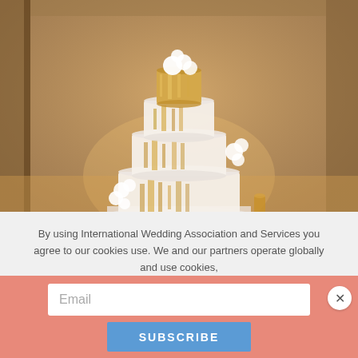[Figure (photo): A multi-tiered white and gold wedding cake decorated with white orchid flowers, displayed on a table with warm golden ambient lighting in the background.]
By using International Wedding Association and Services you agree to our cookies use. We and our partners operate globally and use cookies,
Email
Subscribe